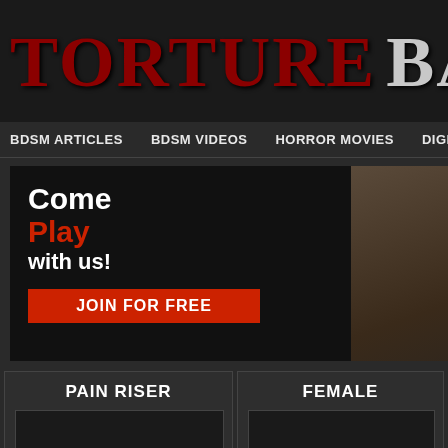TORTURE BANK
BDSM ARTICLES  BDSM VIDEOS  HORROR MOVIES  DIGITAL
[Figure (screenshot): BDSM advertisement banner: left side black background with text 'Come Play with us! JOIN FOR FREE' button in red; right side shows a person wearing a collar with BDSM text overlay]
PAIN RISER
FEMALE